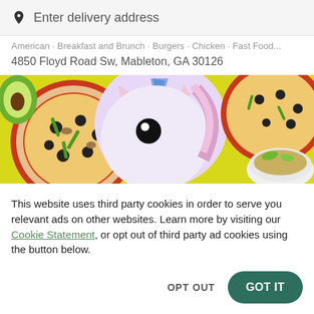Enter delivery address
American · Breakfast and Brunch · Burgers · Chicken · Fast Food...
4850 Floyd Road Sw, Mableton, GA 30126
[Figure (photo): Food photo featuring pizzas with olives and vegetables, a unicorn plush toy, and bowls of food on a yellow background]
This website uses third party cookies in order to serve you relevant ads on other websites. Learn more by visiting our Cookie Statement, or opt out of third party ad cookies using the button below.
OPT OUT
GOT IT